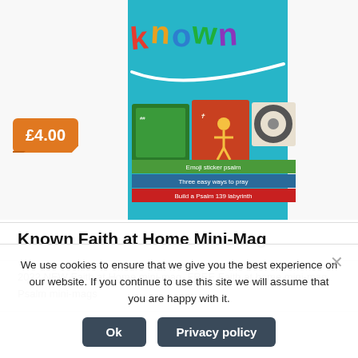[Figure (photo): Book cover for 'Known Faith at Home Mini-Mag' showing colorful children's activity book with title 'known' in clay letters on teal background, with activity previews including emoji sticker psalm, three easy ways to pray, build a Psalm 139 labyrinth]
Known Faith at Home Mini-Mag
2022 NEW Faith at Home mini-mag, FREE Faith at home mini-mag, Psalm mini-mags
Add
We use cookies to ensure that we give you the best experience on our website. If you continue to use this site we will assume that you are happy with it.
Ok
Privacy policy